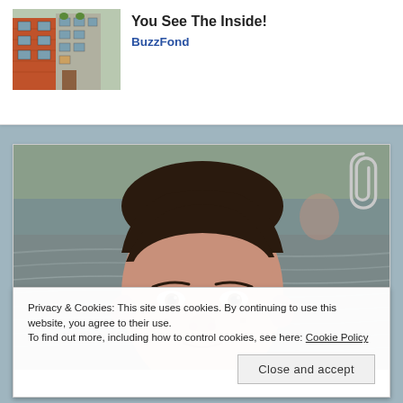[Figure (photo): Thumbnail of a brick building exterior with windows and plants]
You See The Inside!
BuzzFond
[Figure (photo): Close-up photo of a young boy's face near water, looking at camera]
Privacy & Cookies: This site uses cookies. By continuing to use this website, you agree to their use.
To find out more, including how to control cookies, see here: Cookie Policy
Close and accept